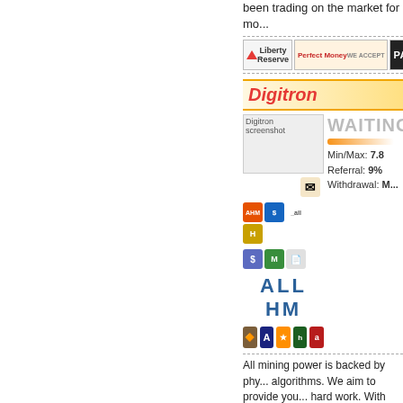been trading on the market for mo...
[Figure (other): Payment method logos: Liberty Reserve, Perfect Money, PAYEER, Bitcoin]
Digitron
[Figure (screenshot): Digitron screenshot placeholder with monitor icons, AHM, SolidTrustPay, ALL HM badges, and monitor rating icons]
WAITING
Min/Max: 7.8
Referral: 9%
Withdrawal: M...
All mining power is backed by phy... algorithms. We aim to provide you... hard work. With data centers arou... can do more from your home in le... and China with dedicated Up-Link... industry.
[Figure (other): Payment method logos: Liberty Reserve, Perfect Money, PAYEER, Bitcoin]
Investradeing
[Figure (screenshot): Investradeing screenshot placeholder]
WAITING